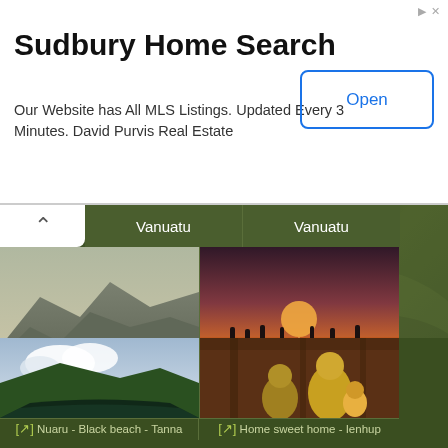[Figure (screenshot): Advertisement banner for Sudbury Home Search real estate website]
Sudbury Home Search
Our Website has All MLS Listings. Updated Every 3 Minutes. David Purvis Real Estate
[Figure (screenshot): Open button for ad]
[Figure (photo): Mountains of Ambrym - Ambrym - Vanuatu]
[↗]
Mountains of Ambrym - Ambrym - Vanuatu
[Figure (photo): Imam niko - Goodbye ship - Lowanatom - Tanna - Vanuatu]
[↗]
Imam niko - Goodbye ship - Lowanatom - Tanna - Vanuatu
[Figure (photo): Nuaru - Black beach - Tanna]
[↗]
Nuaru - Black beach - Tanna
[Figure (photo): Home sweet home - Ienhup]
[↗]
Home sweet home - Ienhup